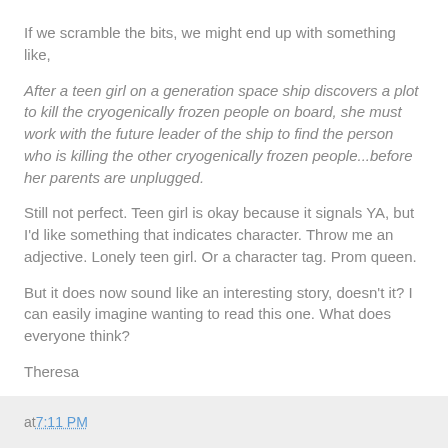If we scramble the bits, we might end up with something like,
After a teen girl on a generation space ship discovers a plot to kill the cryogenically frozen people on board, she must work with the future leader of the ship to find the person who is killing the other cryogenically frozen people...before her parents are unplugged.
Still not perfect. Teen girl is okay because it signals YA, but I'd like something that indicates character. Throw me an adjective. Lonely teen girl. Or a character tag. Prom queen.
But it does now sound like an interesting story, doesn't it? I can easily imagine wanting to read this one. What does everyone think?
Theresa
at 7:11 PM